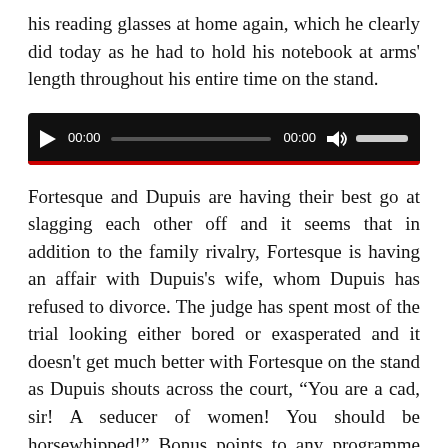his reading glasses at home again, which he clearly did today as he had to hold his notebook at arms' length throughout his entire time on the stand.
[Figure (other): Audio/video media player widget with black background, play button, time display showing 00:00, progress bar, volume icon, and volume slider. Red bar at bottom.]
Fortesque and Dupuis are having their best go at slagging each other off and it seems that in addition to the family rivalry, Fortesque is having an affair with Dupuis's wife, whom Dupuis has refused to divorce. The judge has spent most of the trial looking either bored or exasperated and it doesn't get much better with Fortesque on the stand as Dupuis shouts across the court, “You are a cad, sir! A seducer of women! You should be horsewhipped!” Bonus points to any programme that brings out the word ‘cad’.